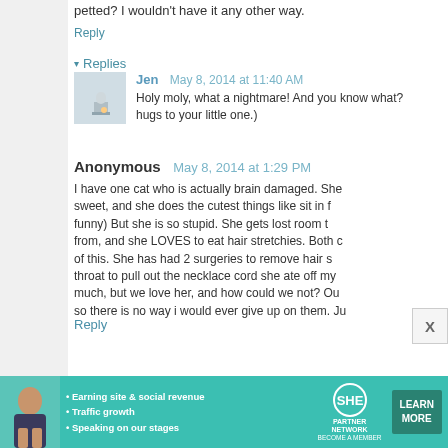petted? I wouldn't have it any other way.
Reply
▾ Replies
Jen   May 8, 2014 at 11:40 AM
Holy moly, what a nightmare! And you know what? hugs to your little one.)
Anonymous   May 8, 2014 at 1:29 PM
I have one cat who is actually brain damaged. She sweet, and she does the cutest things like sit in f funny) But she is so stupid. She gets lost room t from, and she LOVES to eat hair stretchies. Both c of this. She has had 2 surgeries to remove hair s throat to pull out the necklace cord she ate off my much, but we love her, and how could we not? Ou so there is no way i would ever give up on them. Ju
Reply
[Figure (infographic): SHE Partner Network advertisement banner with woman photo, bullet points about earning site & social revenue, traffic growth, speaking on stages, SHE logo, and LEARN MORE button]